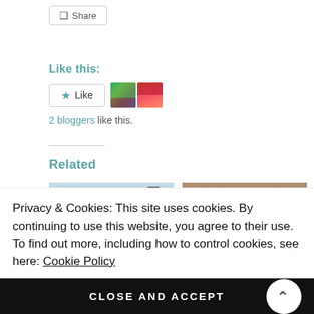Share
Like this:
Like
[Figure (photo): Two avatar thumbnails of bloggers who liked the post]
2 bloggers like this.
Related
[Figure (photo): Photo of a DSLR camera against a light blue background]
[Figure (photo): Flat lay photo of various tools and gadgets on a wooden surface]
Privacy & Cookies: This site uses cookies. By continuing to use this website, you agree to their use.
To find out more, including how to control cookies, see here: Cookie Policy
CLOSE AND ACCEPT